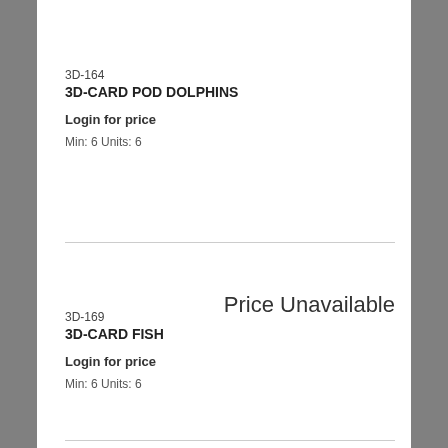3D-164
3D-CARD POD DOLPHINS
Login for price
Min:  6 Units:  6
Price Unavailable
3D-169
3D-CARD FISH
Login for price
Min:  6 Units:  6